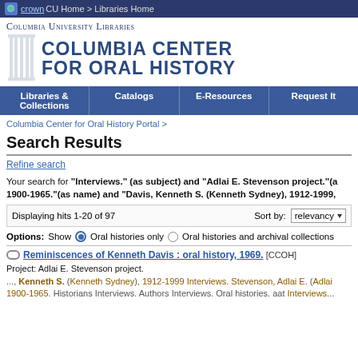CU Home > Libraries Home
Columbia University Libraries — Columbia Center for Oral History
Libraries & Collections | Catalogs | E-Resources | Request It
Columbia Center for Oral History Portal >
Search Results
Refine search
Your search for "Interviews." (as subject) and "Adlai E. Stevenson project."(a... 1900-1965."(as name) and "Davis, Kenneth S. (Kenneth Sydney), 1912-1999,
Displaying hits 1-20 of 97   Sort by: relevancy
Options: Show  Oral histories only  Oral histories and archival collections
Reminiscences of Kenneth Davis : oral history, 1969. [CCOH]
Project: Adlai E. Stevenson project.
..., Kenneth S. (Kenneth Sydney), 1912-1999 Interviews. Stevenson, Adlai E. (Adlai... 1900-1965. Historians Interviews. Authors Interviews. Oral histories. aat Interviews...